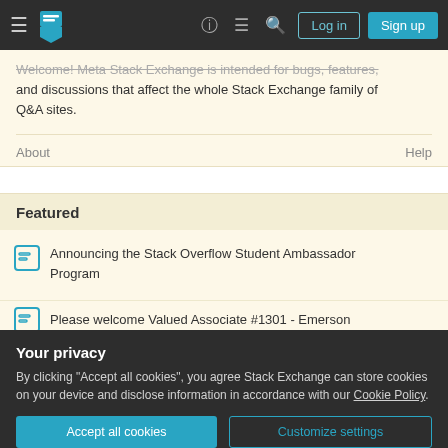Meta Stack Exchange navigation bar with Log in and Sign up buttons
Welcome! Meta Stack Exchange is intended for bugs, features, and discussions that affect the whole Stack Exchange family of Q&A sites.
About    Help
Featured
Announcing the Stack Overflow Student Ambassador Program
Please welcome Valued Associate #1301 - Emerson
Your privacy
By clicking "Accept all cookies", you agree Stack Exchange can store cookies on your device and disclose information in accordance with our Cookie Policy.
Accept all cookies    Customize settings